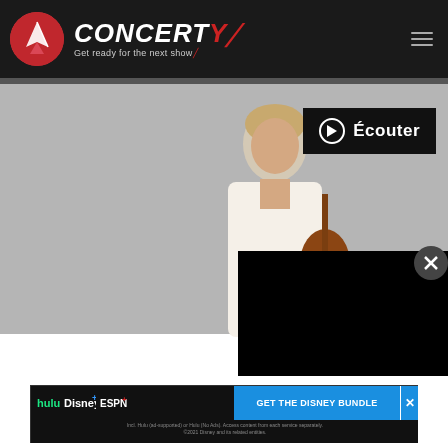[Figure (logo): Concerty logo with red circle icon and text 'CONCERTY / Get ready for the next show' on black header bar]
[Figure (photo): Main content area showing a man in white suit holding an acoustic guitar against a grey background, with an 'Écouter' (listen) play button overlay, a black video player overlay in the bottom right, and the text 'PETER WHITE' at the bottom]
[Figure (screenshot): Disney Bundle advertisement banner showing Hulu, Disney+, ESPN+ logos with text 'GET THE DISNEY BUNDLE' and fine print about access and 2021 Disney]